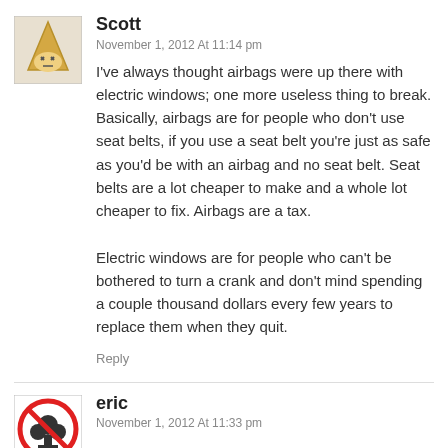[Figure (illustration): Avatar icon for user Scott — cartoon dunce-cap character on beige background]
Scott
November 1, 2012 At 11:14 pm
I've always thought airbags were up there with electric windows; one more useless thing to break. Basically, airbags are for people who don't use seat belts, if you use a seat belt you're just as safe as you'd be with an airbag and no seat belt. Seat belts are a lot cheaper to make and a whole lot cheaper to fix. Airbags are a tax.

Electric windows are for people who can't be bothered to turn a crank and don't mind spending a couple thousand dollars every few years to replace them when they quit.
Reply
[Figure (illustration): Avatar icon for user eric — red no symbol over playing card club symbol]
eric
November 1, 2012 At 11:33 pm